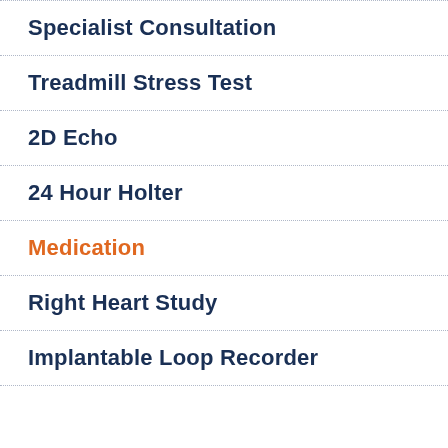Specialist Consultation
Treadmill Stress Test
2D Echo
24 Hour Holter
Medication
Right Heart Study
Implantable Loop Recorder